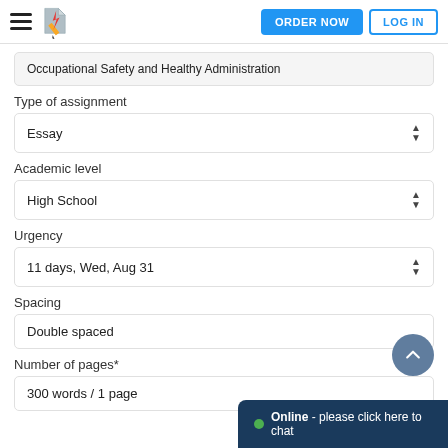ORDER NOW | LOG IN
Occupational Safety and Healthy Administration
Type of assignment
Essay
Academic level
High School
Urgency
11 days, Wed, Aug 31
Spacing
Double spaced
Number of pages*
300 words / 1 page
Online - please click here to chat